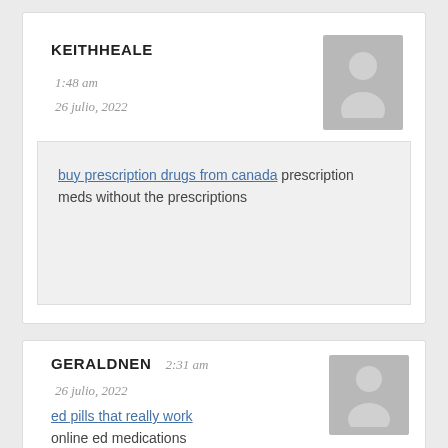KEITHHEALE
1:48 am
26 julio, 2022
buy prescription drugs from canada prescription meds without the prescriptions
GERALDNEN
2:31 am
26 julio, 2022
ed pills that really work online ed medications